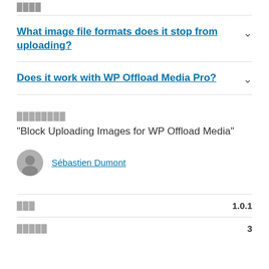████
What image file formats does it stop from uploading?
Does it work with WP Offload Media Pro?
████████
“Block Uploading Images for WP Offload Media”
Sébastien Dumont
███  1.0.1
█████  3